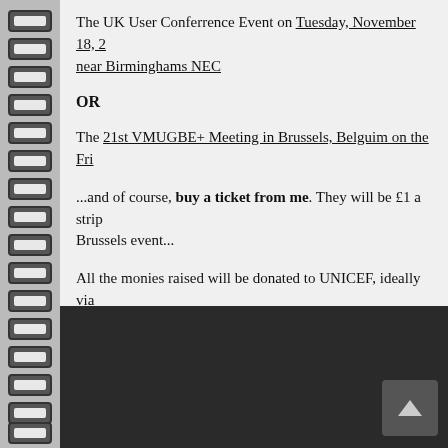The UK User Conferrence Event on Tuesday, November 18, 2... near Birminghams NEC
OR
The 21st VMUGBE+ Meeting in Brussels, Belguim on the Fri...
...and of course, buy a ticket from me. They will be £1 a strip... Brussels event...
All the monies raised will be donated to UNICEF, ideally via... amount raised...
But for now. Drumroll. I'd like to present the 4th Annual VM...
[Figure (photo): Dark area showing bottom of blog post with a scroll-to-top arrow button in the lower right]